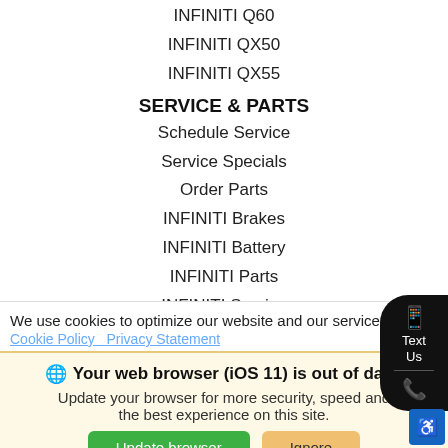INFINITI Q60
INFINITI QX50
INFINITI QX55
SERVICE & PARTS
Schedule Service
Service Specials
Order Parts
INFINITI Brakes
INFINITI Battery
INFINITI Parts
INFINITI Service
INFINITI Oil Change
INFINITI Tires
We use cookies to optimize our website and our service.
Cookie Policy   Privacy Statement
Your web browser (iOS 11) is out of date. Update your browser for more security, speed and the best experience on this site.
Update browser   Ignore